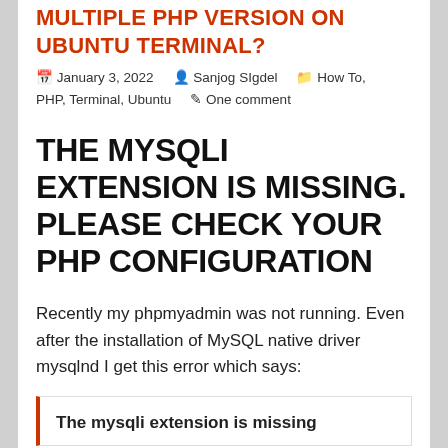MULTIPLE PHP VERSION ON UBUNTU TERMINAL?
January 3, 2022  Sanjog SIgdel  How To, PHP, Terminal, Ubuntu  One comment
THE MYSQLI EXTENSION IS MISSING. PLEASE CHECK YOUR PHP CONFIGURATION
Recently my phpmyadmin was not running. Even after the installation of MySQL native driver mysqlnd I get this error which says:
The mysqli extension is missing